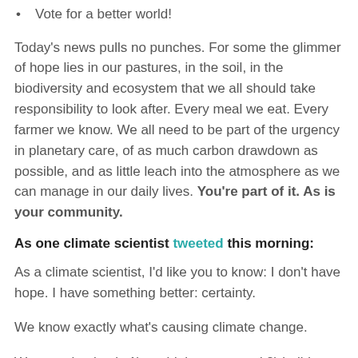Vote for a better world!
Today's news pulls no punches.  For some the glimmer of hope lies in our pastures, in the soil, in the biodiversity and ecosystem that we all should take responsibility to look after.  Every meal we eat.  Every farmer we know. We all need to be part of the urgency in planetary care, of as much carbon drawdown as possible, and as little leach into the atmosphere as we can manage in our daily lives.  You're part of it. As is your community.
As one climate scientist tweeted this morning:
As a climate scientist, I'd like you to know: I don't have hope.  I have something better: certainty.
We know exactly what's causing climate change.
We can absolutely 1) avoid the worst and 2) build